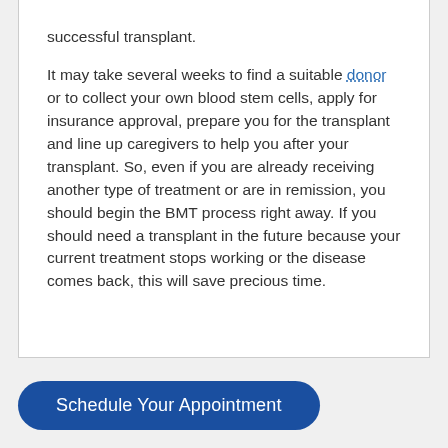successful transplant.

It may take several weeks to find a suitable donor or to collect your own blood stem cells, apply for insurance approval, prepare you for the transplant and line up caregivers to help you after your transplant. So, even if you are already receiving another type of treatment or are in remission, you should begin the BMT process right away. If you should need a transplant in the future because your current treatment stops working or the disease comes back, this will save precious time.
Schedule Your Appointment